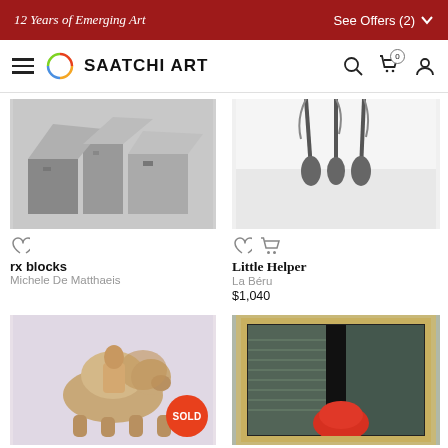12 Years of Emerging Art   See Offers (2)
[Figure (screenshot): Saatchi Art navigation bar with hamburger menu, circular logo, SAATCHI ART wordmark, search icon, cart icon with badge 0, and user icon]
[Figure (photo): Grayscale photo of sculpture 'rx blocks' showing abstract architectural forms]
rx blocks
Michele De Matthaeis
[Figure (photo): Photo of sculpture 'Little Helper' showing metal lamp-like figures on white surface]
Little Helper
La Béru
$1,040
[Figure (photo): Photo of beige animal sculpture with SOLD badge overlay]
[Figure (photo): Photo of framed artwork with textured background and red round object]